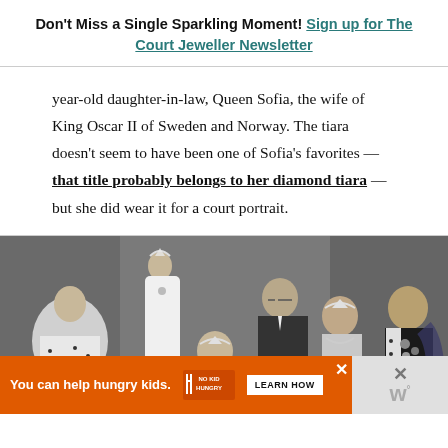Don't Miss a Single Sparkling Moment! Sign up for The Court Jeweller Newsletter
year-old daughter-in-law, Queen Sofia, the wife of King Oscar II of Sweden and Norway. The tiara doesn't seem to have been one of Sofia's favorites — that title probably belongs to her diamond tiara — but she did wear it for a court portrait.
[Figure (photo): Black and white historical photograph of a royal group portrait, showing several people in formal royal attire including tiaras, ermine-trimmed robes, and military decorations. An advertisement bar appears at the bottom reading 'You can help hungry kids. NO KID HUNGRY LEARN HOW']